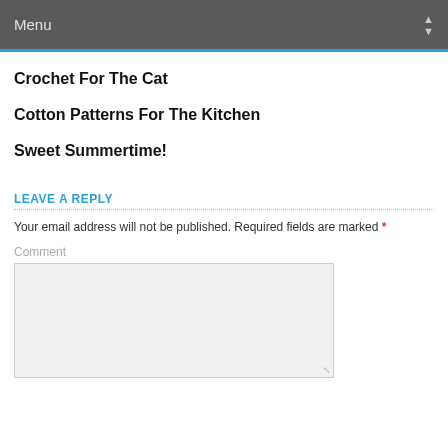Menu
Crochet For The Cat
Cotton Patterns For The Kitchen
Sweet Summertime!
LEAVE A REPLY
Your email address will not be published. Required fields are marked *
Comment